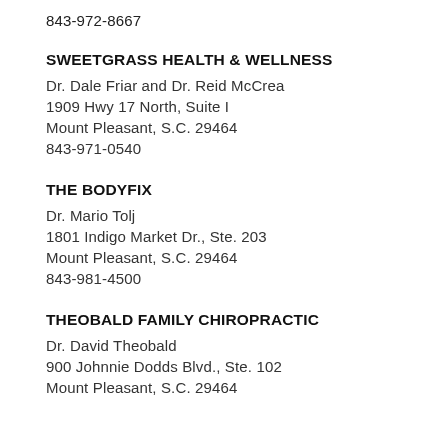843-972-8667
SWEETGRASS HEALTH & WELLNESS
Dr. Dale Friar and Dr. Reid McCrea
1909 Hwy 17 North, Suite I
Mount Pleasant, S.C. 29464
843-971-0540
THE BODYFIX
Dr. Mario Tolj
1801 Indigo Market Dr., Ste. 203
Mount Pleasant, S.C. 29464
843-981-4500
THEOBALD FAMILY CHIROPRACTIC
Dr. David Theobald
900 Johnnie Dodds Blvd., Ste. 102
Mount Pleasant, S.C. 29464